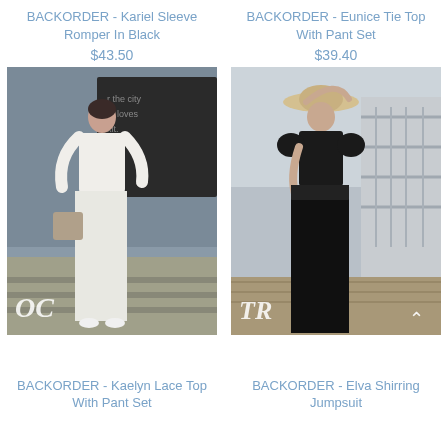BACKORDER - Kariel Sleeve Romper In Black
$43.50
BACKORDER - Eunice Tie Top With Pant Set
$39.40
[Figure (photo): Woman wearing white lace top with wide-leg white pants, holding a patterned bag. Watermark 'OC' bottom left.]
[Figure (photo): Woman wearing black square-neck top with wide-leg black pants and wide-brim hat, standing on wooden walkway. Watermark 'TR' bottom left. Scroll-up arrow bottom right.]
BACKORDER - Kaelyn Lace Top With Pant Set
BACKORDER - Elva Shirring Jumpsuit